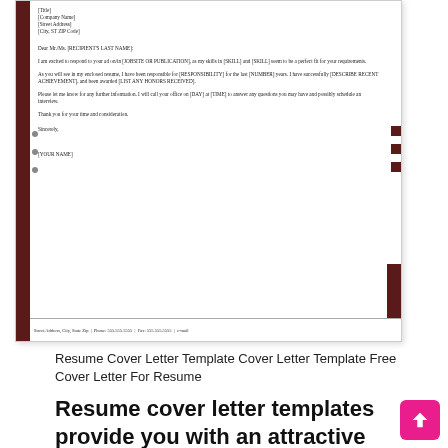[Figure (screenshot): Screenshot of a resume cover letter template showing placeholder text fields for title, company name, address, salutation, body paragraphs with bracketed placeholders like [JOBSITE OR PUBLICATION], [SKILL], [RESPONSIBILITY], [NUMBER], [DESCRIBE RECENT ACHIEVEMENT], [LIST ANY HONORS RECEIVED], [DAY], [TIME], closing with 'Sincerely' and [YOUR NAME], footer with street address, phone 555.555.5555, fax 555.555.5555, e-mail. Dark red side accents on left and right.]
Resume Cover Letter Template Cover Letter Template Free Cover Letter For Resume
Resume cover letter templates provide you with an attractive ready-